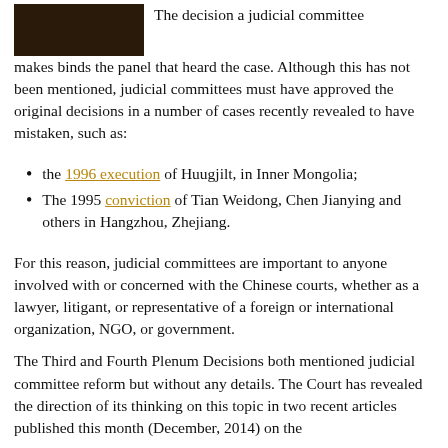[Figure (photo): Partial photograph of a person, cropped at top-left corner of page]
The decision a judicial committee makes binds the panel that heard the case. Although this has not been mentioned, judicial committees must have approved the original decisions in a number of cases recently revealed to have mistaken, such as:
the 1996 execution of Huugjilt, in Inner Mongolia;
The 1995 conviction of Tian Weidong, Chen Jianying and others in Hangzhou, Zhejiang.
For this reason, judicial committees are important to anyone involved with or concerned with the Chinese courts, whether as a lawyer, litigant, or representative of a foreign or international organization, NGO, or government.
The Third and Fourth Plenum Decisions both mentioned judicial committee reform but without any details. The Court has revealed the direction of its thinking on this topic in two recent articles published this month (December, 2014) on the